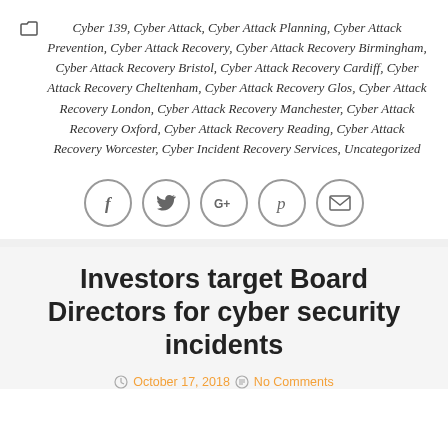Cyber 139, Cyber Attack, Cyber Attack Planning, Cyber Attack Prevention, Cyber Attack Recovery, Cyber Attack Recovery Birmingham, Cyber Attack Recovery Bristol, Cyber Attack Recovery Cardiff, Cyber Attack Recovery Cheltenham, Cyber Attack Recovery Glos, Cyber Attack Recovery London, Cyber Attack Recovery Manchester, Cyber Attack Recovery Oxford, Cyber Attack Recovery Reading, Cyber Attack Recovery Worcester, Cyber Incident Recovery Services, Uncategorized
[Figure (other): Row of 5 social media icon circles: Facebook, Twitter, Google+, Pinterest, Email]
Investors target Board Directors for cyber security incidents
October 17, 2018   No Comments